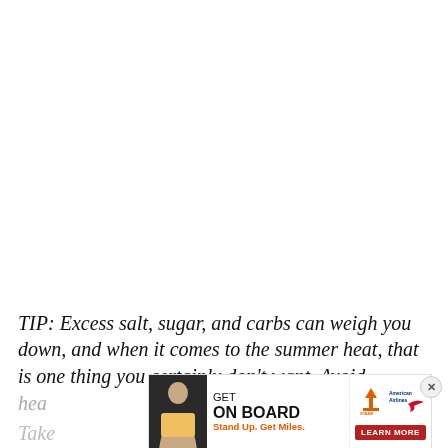TIP: Excess salt, sugar, and carbs can weigh you down, and when it comes to the summer heat, that is one thing you certainly don't want. Avoid heavy, processed foods and sugary cocktails. Take...
[Figure (other): Advertisement overlay: 'GET ON BOARD - Stand Up. Get Miles.' American Airlines / Stand Up to Cancer ad with photo of woman and Learn More button. Close (X) button visible on the right.]